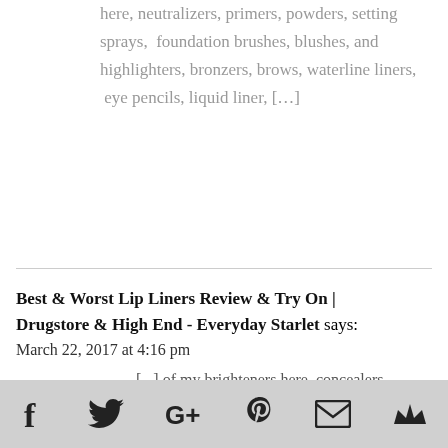here, neutralizers, primers, powders, setting sprays,  foundation brushes, blushes, and highlighters, bronzers, brows, waterline liners, eye pencils, liquid liner, [...]
Best & Worst Lip Liners Review & Try On | Drugstore & High End - Everyday Starlet says: March 22, 2017 at 4:16 pm
[...] of my brighteners here, concealers here, neutralizers, primers, powders, setting sprays,  foundation brushes, blushes, highlighters, bronzers, brows, waterline liners,  eye pencils, liquid liner, [...]
[Figure (other): Social share footer bar with icons: Facebook, Twitter, Google+, Pinterest, Email, Crown/bookmark]